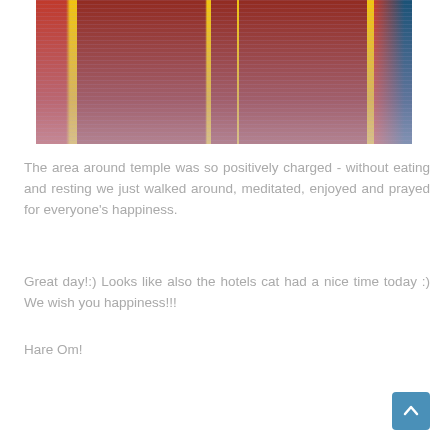[Figure (photo): Photo of a colorful temple exterior with red walls, yellow arch trim accents, and blue elements on the right side. The ground in front appears dusty/snowy.]
The area around temple was so positively charged - without eating and resting we just walked around, meditated, enjoyed and prayed for everyone's happiness.
Great day!:) Looks like also the hotels cat had a nice time today :) We wish you happiness!!!
Hare Om!